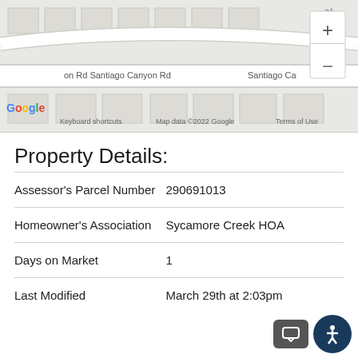[Figure (map): Google Maps street map showing Santiago Canyon Rd area with zoom controls (+/-), Google logo, keyboard shortcuts, map data copyright 2022 Google, and Terms of Use link.]
Property Details:
| Field | Value |
| --- | --- |
| Assessor's Parcel Number | 290691013 |
| Homeowner's Association | Sycamore Creek HOA |
| Days on Market | 1 |
| Last Modified | March 29th at 2:03pm |